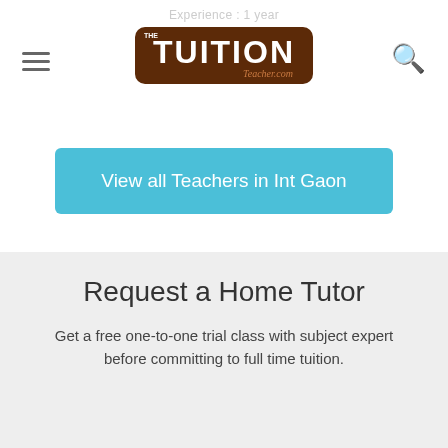Experience : 1 year
[Figure (logo): The Tuition Teacher.com logo — brown rounded rectangle with white bold text TUITION and script Teacher.com below]
View all Teachers in Int Gaon
Request a Home Tutor
Get a free one-to-one trial class with subject expert before committing to full time tuition.